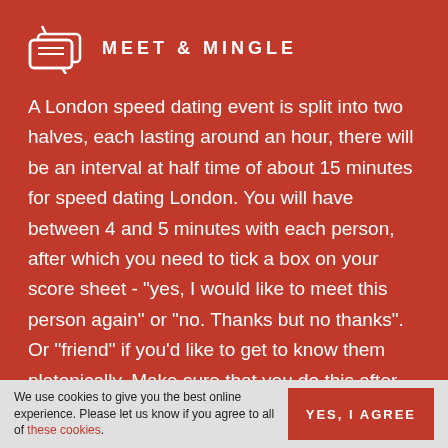MEET & MINGLE
A London speed dating event is split into two halves, each lasting around an hour, there will be an interval at half time of about 15 minutes for speed dating London. You will have between 4 and 5 minutes with each person, after which you need to tick a box on your score sheet - "yes, I would like to meet this person again" or "no. Thanks but no thanks". Or "friend" if you'd like to get to know them platonically. Make sure that you do this after each date to keep track. Afterwards there is an opportunity for everyone to meet and mingle informally - this is often
We use cookies to give you the best online experience. Please let us know if you agree to all of these cookies.